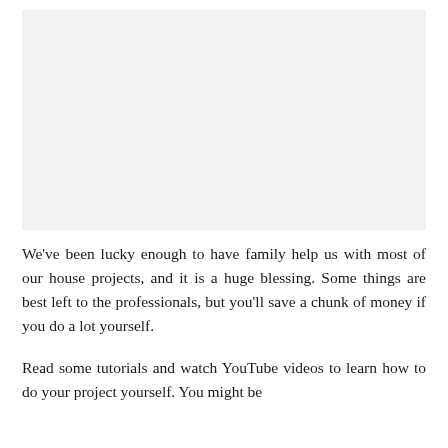[Figure (photo): Image placeholder area at the top of the page, light gray background]
We've been lucky enough to have family help us with most of our house projects, and it is a huge blessing. Some things are best left to the professionals, but you'll save a chunk of money if you do a lot yourself.
Read some tutorials and watch YouTube videos to learn how to do your project yourself. You might be